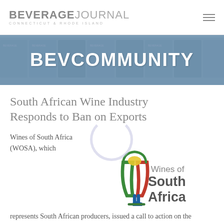BEVERAGE JOURNAL CONNECTICUT & RHODE ISLAND
[Figure (illustration): BEVCOMMUNITY banner with magazine covers in blue-tinted background]
South African Wine Industry Responds to Ban on Exports
Wines of South Africa (WOSA), which
[Figure (logo): Wines of South Africa (WOSA) logo with colorful wine glass figure and text]
represents South African producers, issued a call to action on the country's COVID-19 response measures that ban